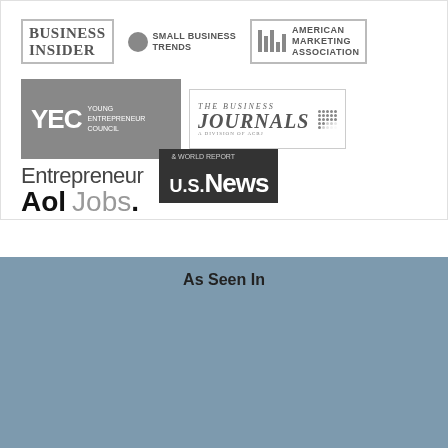[Figure (logo): Business Insider logo]
[Figure (logo): Small Business Trends logo with circle]
[Figure (logo): American Marketing Association logo]
[Figure (logo): YEC Young Entrepreneur Council logo]
[Figure (logo): The Business Journals logo]
[Figure (logo): Entrepreneur logo]
[Figure (logo): U.S. News & World Report logo]
[Figure (logo): AOL Jobs logo]
As Seen In
[Figure (logo): The New York Times logo]
[Figure (logo): The Wall Street Journal logo]
[Figure (logo): Bloomberg Businessweek logo]
[Figure (logo): TIME logo]
[Figure (logo): USA Today logo]
[Figure (logo): Fast Company logo]